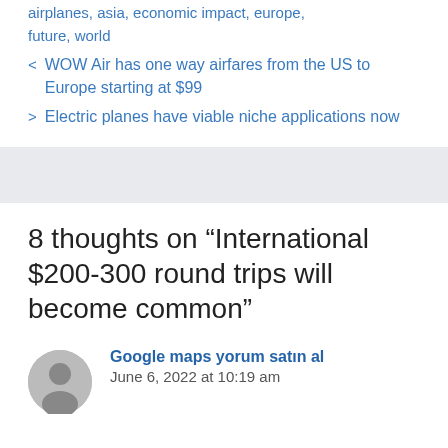airplanes, asia, economic impact, europe, future, world
< WOW Air has one way airfares from the US to Europe starting at $99
> Electric planes have viable niche applications now
8 thoughts on “International $200-300 round trips will become common”
Google maps yorum satın al
June 6, 2022 at 10:19 am